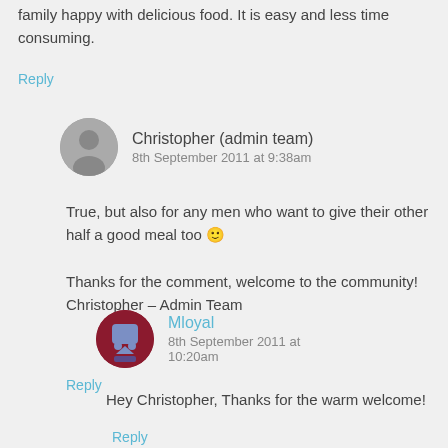family happy with delicious food. It is easy and less time consuming.
Reply
Christopher (admin team)
8th September 2011 at 9:38am
True, but also for any men who want to give their other half a good meal too 🙂

Thanks for the comment, welcome to the community!
Christopher – Admin Team
Reply
Mloyal
8th September 2011 at 10:20am
Hey Christopher, Thanks for the warm welcome!
Reply